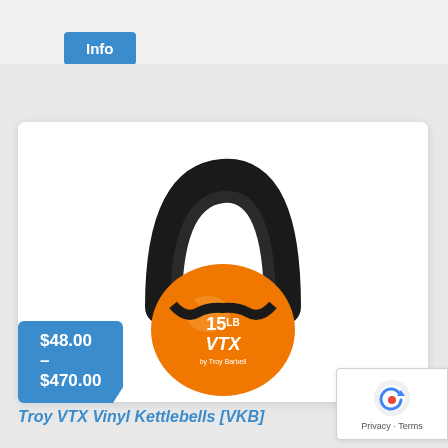Info
[Figure (photo): Orange VTX vinyl kettlebell with black handle, labeled 15 LB VTX by Troy Barbell]
$48.00 – $470.00
Troy VTX Vinyl Kettlebells [VKB]